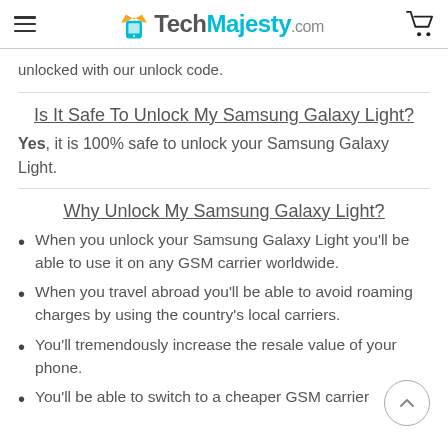TechMajesty.com
unlocked with our unlock code.
Is It Safe To Unlock My Samsung Galaxy Light?
Yes, it is 100% safe to unlock your Samsung Galaxy Light.
Why Unlock My Samsung Galaxy Light?
When you unlock your Samsung Galaxy Light you'll be able to use it on any GSM carrier worldwide.
When you travel abroad you'll be able to avoid roaming charges by using the country's local carriers.
You'll tremendously increase the resale value of your phone.
You'll be able to switch to a cheaper GSM carrier...